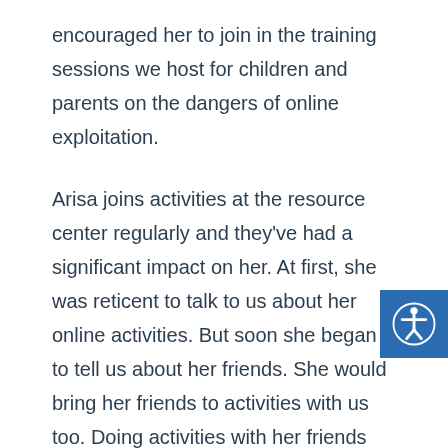encouraged her to join in the training sessions we host for children and parents on the dangers of online exploitation.
Arisa joins activities at the resource center regularly and they've had a significant impact on her. At first, she was reticent to talk to us about her online activities. But soon she began to tell us about her friends. She would bring her friends to activities with us too. Doing activities with her friends there helped her open up more.
Her mentor shared news articles about online sexual exploitation, which proved to be a pivotal moment for